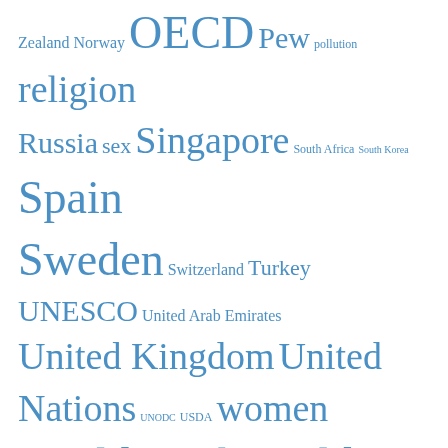Zealand Norway OECD Pew pollution religion Russia sex Singapore South Africa South Korea Spain Sweden Switzerland Turkey UNESCO United Arab Emirates United Kingdom United Nations UNODC USDA women World Bank World Health Organization World Resources Institute
What today's readers have been the most interested in…
The U.S. ranks 2nd in ecological footprint
The U.S. ranks 50th in erection length
About
The U.S. ranks 10th in Lutherans
The U.S. ranks 1st in foreign students